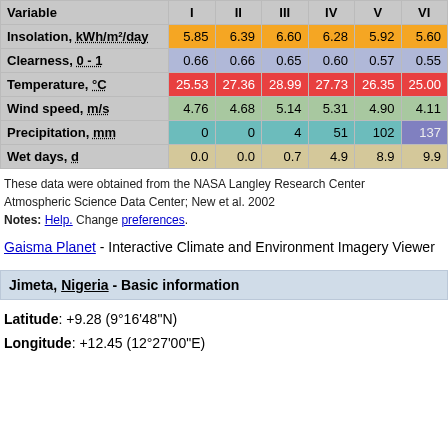| Variable | I | II | III | IV | V | VI |
| --- | --- | --- | --- | --- | --- | --- |
| Insolation, kWh/m²/day | 5.85 | 6.39 | 6.60 | 6.28 | 5.92 | 5.60 |
| Clearness, 0 - 1 | 0.66 | 0.66 | 0.65 | 0.60 | 0.57 | 0.55 |
| Temperature, °C | 25.53 | 27.36 | 28.99 | 27.73 | 26.35 | 25.00 |
| Wind speed, m/s | 4.76 | 4.68 | 5.14 | 5.31 | 4.90 | 4.11 |
| Precipitation, mm | 0 | 0 | 4 | 51 | 102 | 137 |
| Wet days, d | 0.0 | 0.0 | 0.7 | 4.9 | 8.9 | 9.9 |
These data were obtained from the NASA Langley Research Center Atmospheric Science Data Center; New et al. 2002
Notes: Help. Change preferences.
Gaisma Planet - Interactive Climate and Environment Imagery Viewer
Jimeta, Nigeria - Basic information
Latitude: +9.28 (9°16'48"N)
Longitude: +12.45 (12°27'00"E)